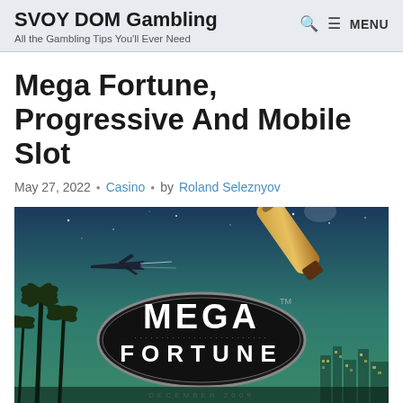SVOY DOM Gambling — All the Gambling Tips You'll Ever Need
Mega Fortune, Progressive And Mobile Slot
May 27, 2022 • Casino • by Roland Seleznyov
[Figure (illustration): Mega Fortune slot game promotional image featuring palm trees, a jet, champagne bottle, city skyline at night, and the MEGA FORTUNE logo on a dark oval badge with text DECEMBER 2009 below]